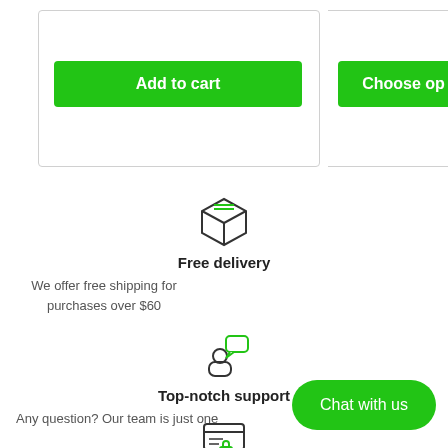[Figure (screenshot): Add to cart green button (partially visible card on left) and Choose options green button (partially visible card on right)]
[Figure (illustration): Box/package icon representing free delivery]
Free delivery
We offer free shipping for purchases over $60
[Figure (illustration): Person with speech bubble icon representing top-notch support]
Top-notch support
Any question? Our team is just one
[Figure (illustration): Secure payment icon with lock]
Chat with us